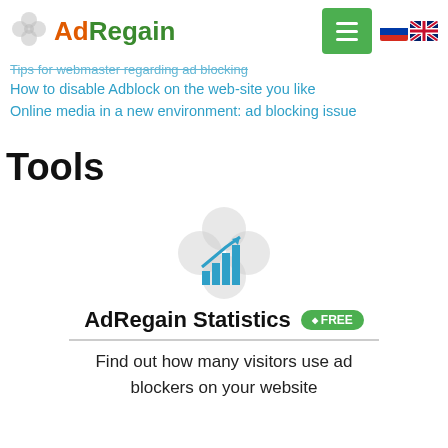AdRegain
Tips for webmaster regarding ad blocking
How to disable Adblock on the web-site you like
Online media in a new environment: ad blocking issue
Tools
[Figure (logo): AdRegain Statistics tool icon: a bar chart with upward arrow overlaid on a flower/clover shaped grey background]
AdRegain Statistics FREE
Find out how many visitors use ad blockers on your website